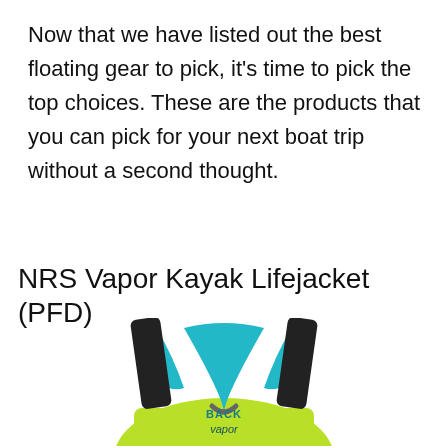Now that we have listed out the best floating gear to pick, it's time to pick the top choices. These are the products that you can pick for your next boat trip without a second thought.
NRS Vapor Kayak Lifejacket (PFD)
[Figure (photo): Photo of the back of an NRS Vapor Kayak lifejacket (PFD). The life jacket is yellow-green with teal/turquoise panels and black shoulder straps forming a V-shape. Text on the back reads 'BACK' and 'vapor'.]